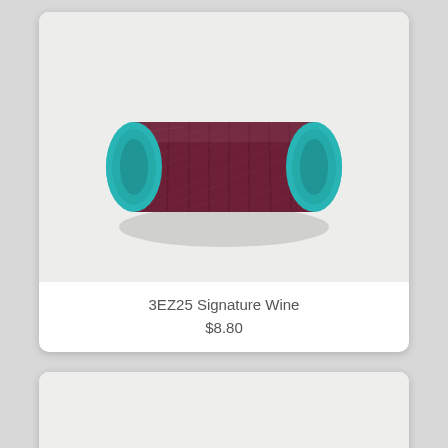[Figure (photo): A spool of dark wine/burgundy colored thread with teal/blue end caps, lying on its side on a white/light gray surface. The spool is cylindrical and horizontal.]
3EZ25 Signature Wine
$8.80
[Figure (photo): Partial view of a spool of purple/violet colored thread on a white/light gray surface, cropped at the bottom of the page.]